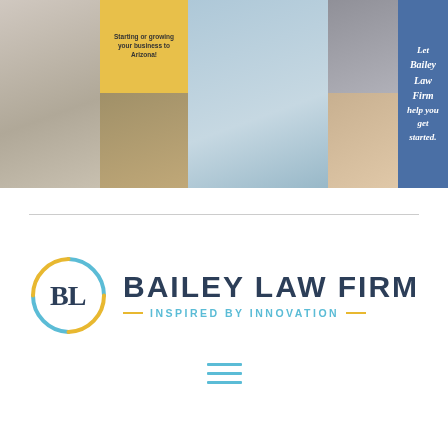[Figure (photo): Collage of law firm photos: attorney working with client at desk, yellow promotional card about starting/growing business, dog photo, exterior of law firm building, interior/desk detail, warmly lit room, and blue box with text 'Let Bailey Law Firm help you get started.']
[Figure (logo): Bailey Law Firm logo: circular BL monogram with blue and gold arc segments, followed by text 'BAILEY LAW FIRM' in dark navy, with tagline '— INSPIRED BY INNOVATION —' in teal with gold dashes]
[Figure (other): Hamburger menu icon (three horizontal teal lines)]
[Figure (other): Second hamburger menu icon (three horizontal teal lines) lower on the page]